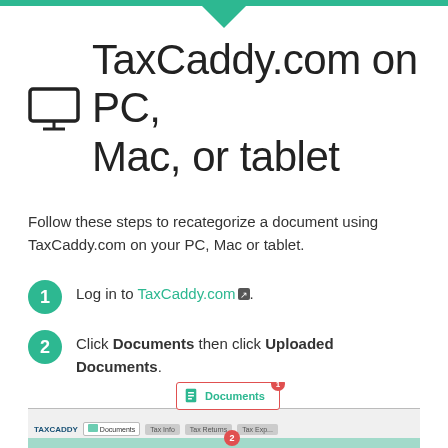TaxCaddy.com on PC, Mac, or tablet
Follow these steps to recategorize a document using TaxCaddy.com on your PC, Mac or tablet.
1 Log in to TaxCaddy.com.
2 Click Documents then click Uploaded Documents.
[Figure (screenshot): Screenshot of TaxCaddy.com showing the Documents menu item highlighted with a red border and badge number 1, and the browser interface below showing the navigation bar with Documents tab selected.]